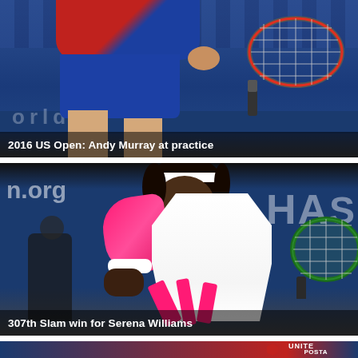[Figure (photo): 2016 US Open: Andy Murray at practice session, seen from waist down wearing red/blue shirt and blue shorts, holding a tennis racket, on a blue-advertisement-boarded court]
2016 US Open: Andy Murray at practice
[Figure (photo): Serena Williams playing a shot at the 2016 US Open wearing white dress with pink accents and a pink compression sleeve, holding a tennis racket on a blue-boarded court, with 'n.org' and 'HAS' signage visible]
307th Slam win for Serena Williams
[Figure (photo): Partial view of a third photo showing blue background with United States Postal Service (USPS) branding visible at right]